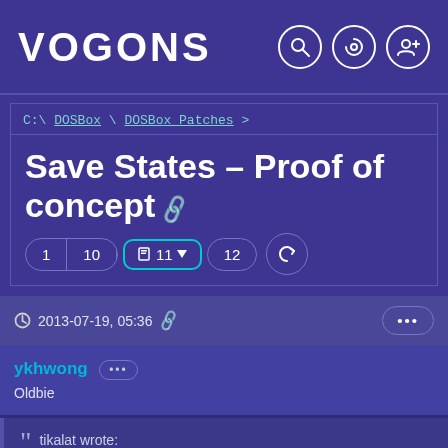VOGONS
C:\ DOSBox \ DOSBox_Patches >
Save States – Proof of concept
Pages: 1  10  11  12
2013-07-19, 05:36
ykhwong
Oldbie
tikalat wrote:
Re: Munt Reloaded – Development Patch to integrate